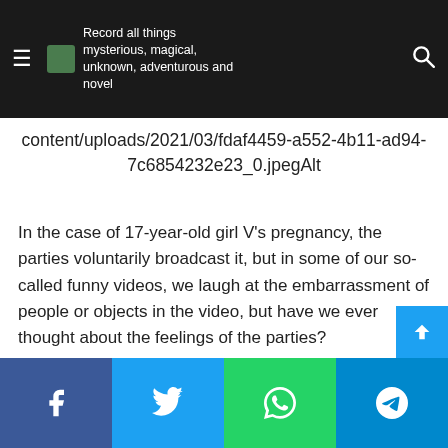Record all things mysterious, magical, unknown, adventurous and novel
content/uploads/2021/03/fdaf4459-a552-4b11-ad94-7c6854232e23_0.jpegAlt
In the case of 17-year-old girl V's pregnancy, the parties voluntarily broadcast it, but in some of our so-called funny videos, we laugh at the embarrassment of people or objects in the video, but have we ever thought about the feelings of the parties?
Two years ago, a woman was frightened by the prank of her family shooting funny videos, so she developed serious mental illness. After that, the woman did not dare to get close to her mobile phone, things with cameras, computers, or even contact with people. She often felt nervous and always hid h